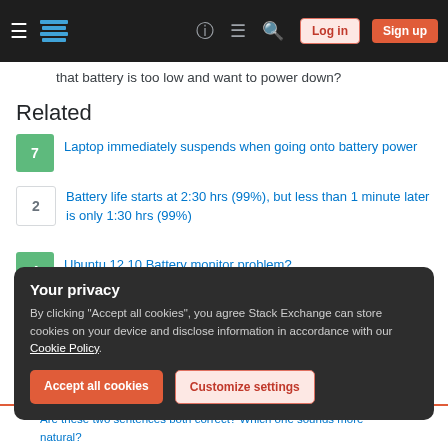Stack Exchange navigation bar with Log in and Sign up buttons
that battery is too low and want to power down?
Related
7 — Laptop immediately suspends when going onto battery power
2 — Battery life starts at 2:30 hrs (99%), but less than 1 minute later is only 1:30 hrs (99%)
4 — Ubuntu 12.10 Battery monitor problem?
1 — How to tell if battery is dead using Ubuntu
0 — Asus Laptop poor battery life
Your privacy
By clicking "Accept all cookies", you agree Stack Exchange can store cookies on your device and disclose information in accordance with our Cookie Policy.
Accept all cookies  Customize settings
Are these two sentences both correct? Which one sounds more natural?